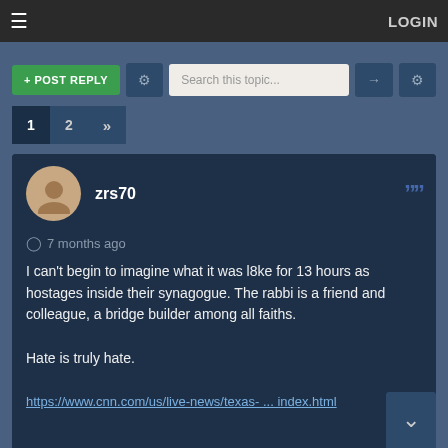LOGIN
+ POST REPLY
Search this topic...
1
2
»
zrs70
7 months ago
I can't begin to imagine what it was l8ke for 13 hours as hostages inside their synagogue. The rabbi is a friend and colleague, a bridge builder among all faiths.

Hate is truly hate.

https://www.cnn.com/us/live-news/texas- ... index.html